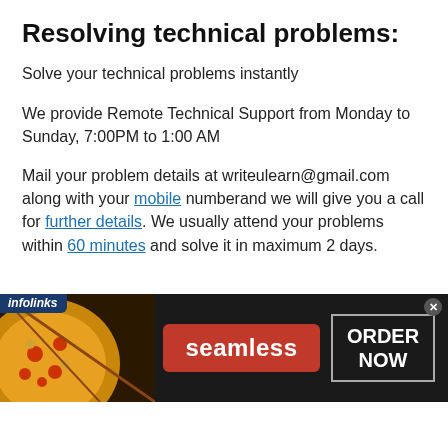Resolving technical problems:
Solve your technical problems instantly
We provide Remote Technical Support from Monday to Sunday, 7:00PM to 1:00 AM
Mail your problem details at writeulearn@gmail.com along with your mobile numberand we will give you a call for further details. We usually attend your problems within 60 minutes and solve it in maximum 2 days.
[Figure (infographic): Infolinks advertisement banner for Seamless food ordering service. Dark background with pizza image on left, red Seamless logo button in center, ORDER NOW button on right.]